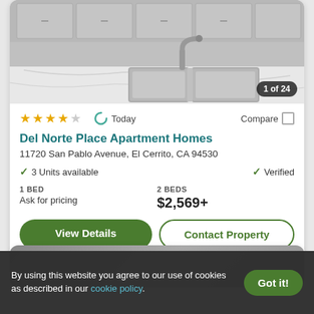[Figure (photo): Kitchen photo showing a stainless steel double sink with faucet and white marble countertop, white cabinets in background]
1 of 24
★★★★☆  Today  Compare
Del Norte Place Apartment Homes
11720 San Pablo Avenue, El Cerrito, CA 94530
✓ 3 Units available    ✓ Verified
1 BED
Ask for pricing
2 BEDS
$2,569+
View Details   Contact Property
[Figure (photo): Partial view of a second apartment listing card with outdoor photo]
By using this website you agree to our use of cookies as described in our cookie policy.   Got it!